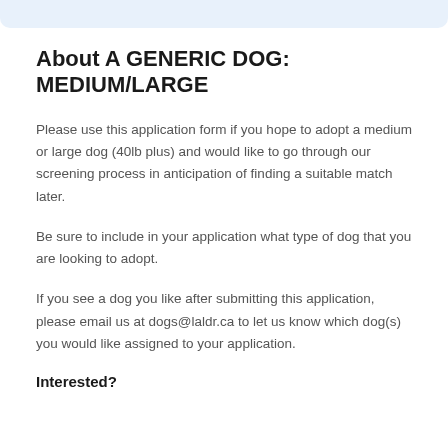About A GENERIC DOG: MEDIUM/LARGE
Please use this application form if you hope to adopt a medium or large dog (40lb plus) and would like to go through our screening process in anticipation of finding a suitable match later.
Be sure to include in your application what type of dog that you are looking to adopt.
If you see a dog you like after submitting this application, please email us at dogs@laldr.ca to let us know which dog(s) you would like assigned to your application.
Interested?